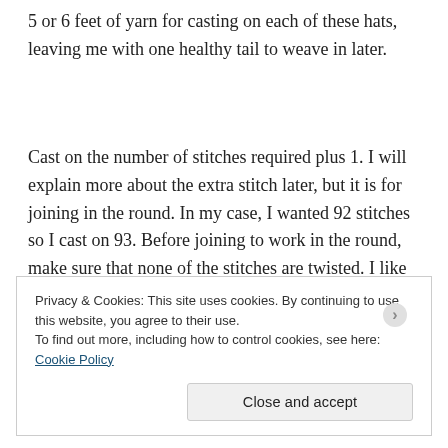5 or 6 feet of yarn for casting on each of these hats, leaving me with one healthy tail to weave in later.
Cast on the number of stitches required plus 1. I will explain more about the extra stitch later, but it is for joining in the round. In my case, I wanted 92 stitches so I cast on 93. Before joining to work in the round, make sure that none of the stitches are twisted. I like to align
Privacy & Cookies: This site uses cookies. By continuing to use this website, you agree to their use.
To find out more, including how to control cookies, see here:
Cookie Policy
Close and accept